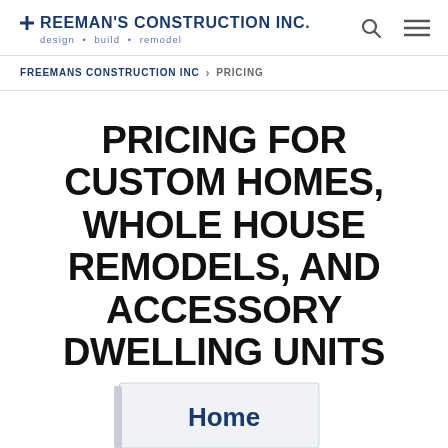FREEMAN'S CONSTRUCTION INC. design • build • remodel
FREEMANS CONSTRUCTION INC > PRICING
PRICING FOR CUSTOM HOMES, WHOLE HOUSE REMODELS, AND ACCESSORY DWELLING UNITS
[Figure (photo): Partial view of a book or brochure cover with the word 'Home' visible in blue text]